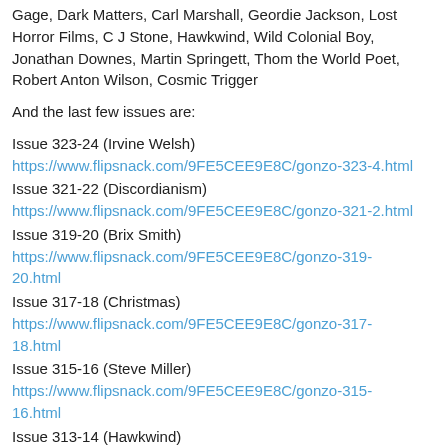Gage, Dark Matters, Carl Marshall, Geordie Jackson, Lost Horror Films, C J Stone, Hawkwind, Wild Colonial Boy, Jonathan Downes, Martin Springett, Thom the World Poet, Robert Anton Wilson, Cosmic Trigger
And the last few issues are:
Issue 323-24 (Irvine Welsh)
https://www.flipsnack.com/9FE5CEE9E8C/gonzo-323-4.html
Issue 321-22 (Discordianism)
https://www.flipsnack.com/9FE5CEE9E8C/gonzo-321-2.html
Issue 319-20 (Brix Smith)
https://www.flipsnack.com/9FE5CEE9E8C/gonzo-319-20.html
Issue 317-18 (Christmas)
https://www.flipsnack.com/9FE5CEE9E8C/gonzo-317-18.html
Issue 315-16 (Steve Miller)
https://www.flipsnack.com/9FE5CEE9E8C/gonzo-315-16.html
Issue 313-14 (Hawkwind)
https://www.flipsnack.com/9FE5CEE9E8C/gonzo-313-14.html